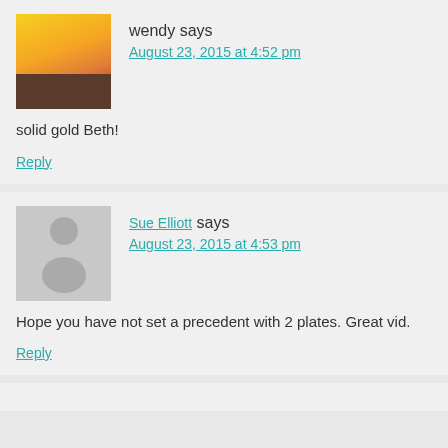wendy says
August 23, 2015 at 4:52 pm
solid gold Beth!
Reply
Sue Elliott says
August 23, 2015 at 4:53 pm
Hope you have not set a precedent with 2 plates. Great vid.
Reply